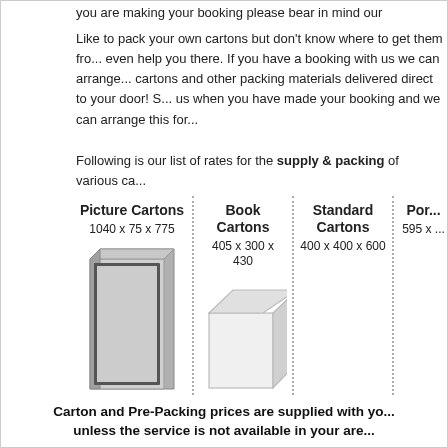you are making your booking please bear in mind our prepacking s...
Like to pack your own cartons but don't know where to get them from? We can even help you there. If you have a booking with us we can arrange to have cartons and other packing materials delivered direct to your door! Simply call us when you have made your booking and we can arrange this for...
Following is our list of rates for the supply & packing of various ca...
[Figure (illustration): Four columns showing carton types: Picture Cartons (1040 x 75 x 775), Book Cartons (405 x 300 x 430), Standard Cartons (400 x 400 x 600), Port... (595 x ...). Each column has a dotted border separator and an image of the carton type.]
Carton and Pre-Packing prices are supplied with yo... unless the service is not available in your are...